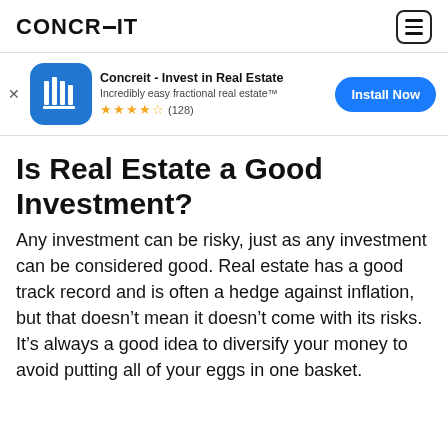CONCREIT
[Figure (screenshot): App install banner for Concreit - Invest in Real Estate app. Shows blue app icon with building/columns graphic, app name, tagline 'Incredibly easy fractional real estate™', 4.5 star rating (128 reviews), and an 'Install Now' button.]
Is Real Estate a Good Investment?
Any investment can be risky, just as any investment can be considered good. Real estate has a good track record and is often a hedge against inflation, but that doesn't mean it doesn't come with its risks. It's always a good idea to diversify your money to avoid putting all of your eggs in one basket.